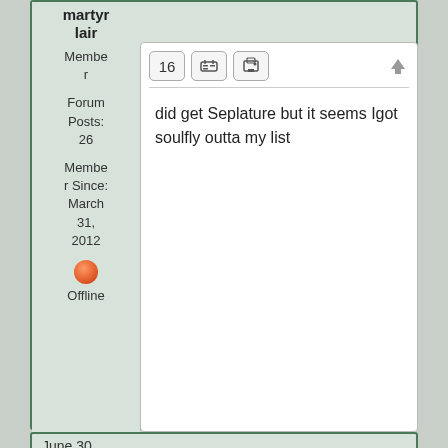martyr lair
Member
Forum Posts: 26
Member Since: March 31, 2012
Offline
16
did get Seplature but it seems Igot soulfly outta my list
June 30, 2012